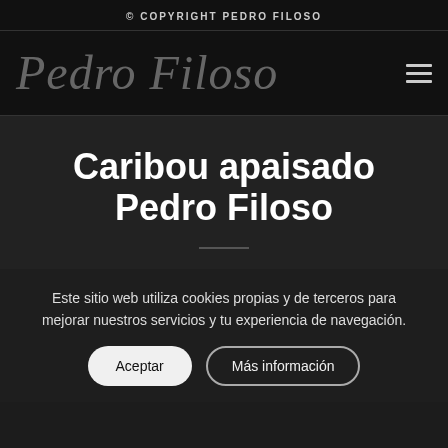© COPYRIGHT PEDRO FILOSO
[Figure (logo): Pedro Filoso cursive handwritten logo in gray on dark background]
Caribou apaisado Pedro Filoso
Este sitio web utiliza cookies propias y de terceros para mejorar nuestros servicios y tu experiencia de navegación.
Aceptar   Más información